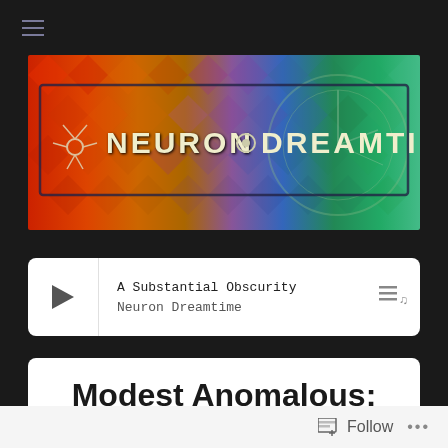[Figure (logo): Neuron Dreamtime podcast banner with colorful diamond/hex pattern background in rainbow colors and 'NEURON DREAMTIME' text with neuron graphic logo]
A Substantial Obscurity
Neuron Dreamtime
Modest Anomalous: The Podcast Supplement
[Figure (photo): Partial image strip at bottom of article card, appears to be a blue-toned space or abstract photo]
Follow